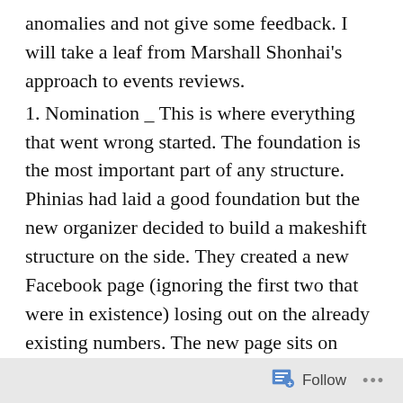anomalies and not give some feedback. I will take a leaf from Marshall Shonhai's approach to events reviews.
1. Nomination _ This is where everything that went wrong started. The foundation is the most important part of any structure. Phinias had laid a good foundation but the new organizer decided to build a makeshift structure on the side. They created a new Facebook page (ignoring the first two that were in existence) losing out on the already existing numbers. The new page sits on 3.7k. There was no website like in the past when the whole voting process was done on the site. The previous awards had up to around 30-40 categories but this time the number shot to 50.
2. The Nominees _The first stage lacked credibility and proper thought and organization, setting a bad
Follow ...